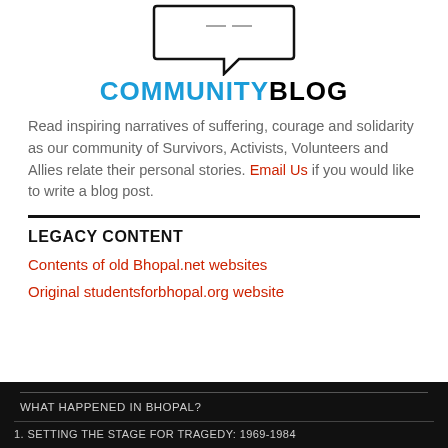[Figure (logo): Speech bubble / community blog logo illustration]
COMMUNITYBLOG
Read inspiring narratives of suffering, courage and solidarity as our community of Survivors, Activists, Volunteers and Allies relate their personal stories. Email Us if you would like to write a blog post.
LEGACY CONTENT
Contents of old Bhopal.net websites
Original studentsforbhopal.org website
WHAT HAPPENED IN BHOPAL?
1. SETTING THE STAGE FOR TRAGEDY: 1969-1984